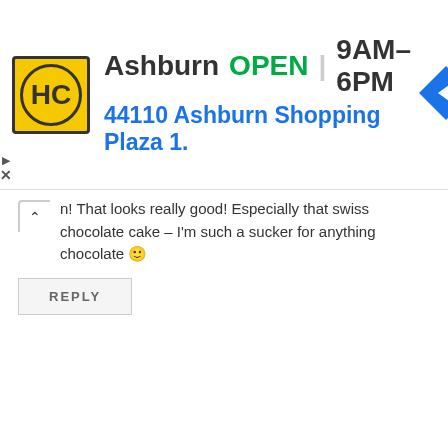[Figure (other): Advertisement banner for HC store in Ashburn. Logo: yellow square with HC letters in a circle. Text: Ashburn OPEN 9AM-6PM, 44110 Ashburn Shopping Plaza 1. Blue navigation arrow icon on the right.]
n! That looks really good! Especially that swiss chocolate cake – I'm such a sucker for anything chocolate 🙂
REPLY
Rochkirstin Santos June 22, 2015
Haha me too. It's hard to say no to chocolate cake for dessert-even when we were too full. :p
REPLY